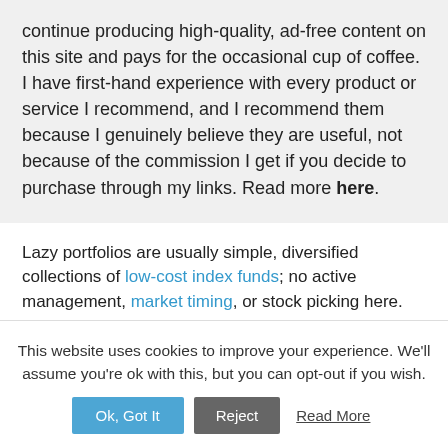continue producing high-quality, ad-free content on this site and pays for the occasional cup of coffee. I have first-hand experience with every product or service I recommend, and I recommend them because I genuinely believe they are useful, not because of the commission I get if you decide to purchase through my links. Read more here.
Lazy portfolios are usually simple, diversified collections of low-cost index funds; no active management, market timing, or stock picking here. Jack Bogle, founder of
This website uses cookies to improve your experience. We'll assume you're ok with this, but you can opt-out if you wish.